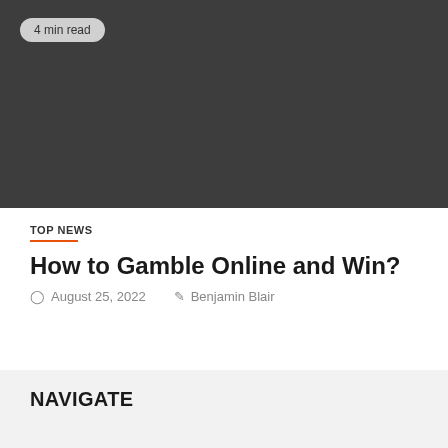[Figure (photo): Dark gray hero image placeholder with a '4 min read' badge in the top-left corner]
TOP NEWS
How to Gamble Online and Win?
August 25, 2022   Benjamin Blair
NAVIGATE